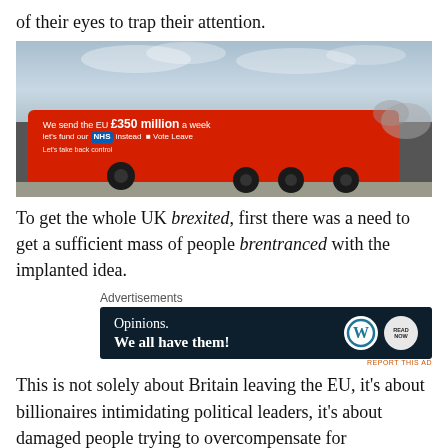of their eyes to trap their attention.
[Figure (photo): Red Vote Leave campaign bus with text: 'We send the EU £350 million a week let's fund our NHS instead Vote Leave. Let's take back control.']
To get the whole UK brexited, first there was a need to get a sufficient mass of people brentranced with the implanted idea.
Advertisements
[Figure (other): Advertisement banner: 'Opinions. We all have them!' with WordPress and Read Now logos on dark navy background]
REPORT THIS AD
This is not solely about Britain leaving the EU, it's about billionaires intimidating political leaders, it's about damaged people trying to overcompensate for